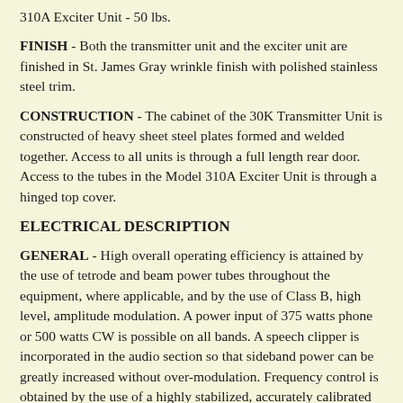310A Exciter Unit - 50 lbs.
FINISH - Both the transmitter unit and the exciter unit are finished in St. James Gray wrinkle finish with polished stainless steel trim.
CONSTRUCTION - The cabinet of the 30K Transmitter Unit is constructed of heavy sheet steel plates formed and welded together. Access to all units is through a full length rear door. Access to the tubes in the Model 310A Exciter Unit is through a hinged top cover.
ELECTRICAL DESCRIPTION
GENERAL - High overall operating efficiency is attained by the use of tetrode and beam power tubes throughout the equipment, where applicable, and by the use of Class B, high level, amplitude modulation. A power input of 375 watts phone or 500 watts CW is possible on all bands. A speech clipper is incorporated in the audio section so that sideband power can be greatly increased without over-modulation. Frequency control is obtained by the use of a highly stabilized, accurately calibrated master oscillator.
RADIO FREQUENCY SECTION
Exciter Unit - The master oscillator, which is heavily shielded and